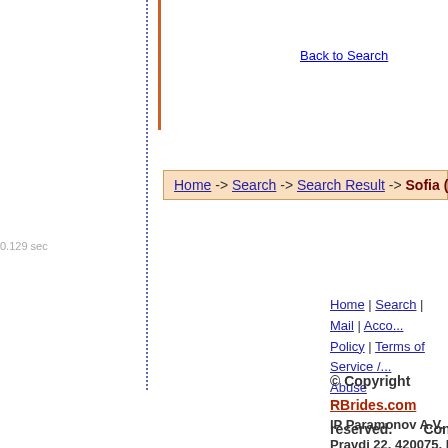Back to Search
Home -> Search -> Search Result -> Sofia (ID: 729753)
0.129 sec
Home | Search | Mail | Acco... Policy | Terms of Service / ... Abuse
© Copyright RBrides.com ... reserved. Contact ...
IP Paramonov A.V.
Pravdi 22, 420075, Kazan...
Russian Federation